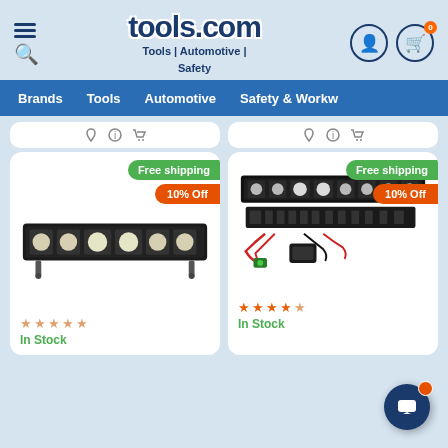tools.com — Tools | Automotive | Safety
[Figure (screenshot): Navigation bar with Brands, Tools, Automotive, Safety & Workwear menu items]
[Figure (photo): LED light bar product card with Free shipping and 10% Off badges, 0-star rating, In Stock]
[Figure (photo): LED light bar kit with bracket and wiring product card with Free shipping and 10% Off badges, 4-star rating, In Stock]